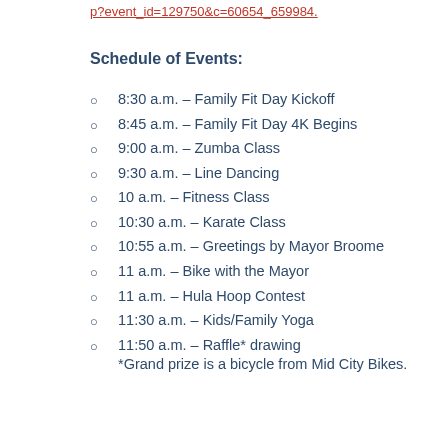p?event_id=129750&c=60654_659984.
Schedule of Events:
8:30 a.m. – Family Fit Day Kickoff
8:45 a.m. – Family Fit Day 4K Begins
9:00 a.m. – Zumba Class
9:30 a.m. – Line Dancing
10 a.m. – Fitness Class
10:30 a.m. – Karate Class
10:55 a.m. – Greetings by Mayor Broome
11 a.m. – Bike with the Mayor
11 a.m. – Hula Hoop Contest
11:30 a.m. – Kids/Family Yoga
11:50 a.m. – Raffle* drawing *Grand prize is a bicycle from Mid City Bikes.